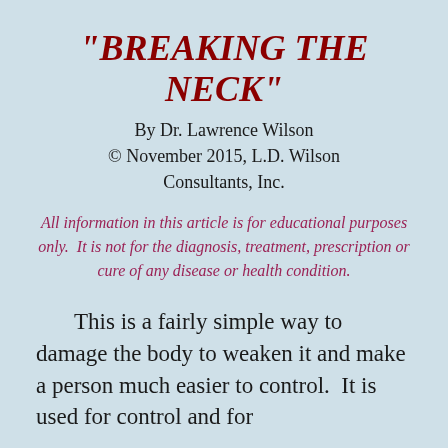“BREAKING THE NECK”
By Dr. Lawrence Wilson
© November 2015, L.D. Wilson Consultants, Inc.
All information in this article is for educational purposes only.  It is not for the diagnosis, treatment, prescription or cure of any disease or health condition.
This is a fairly simple way to damage the body to weaken it and make a person much easier to control.  It is used for control and for